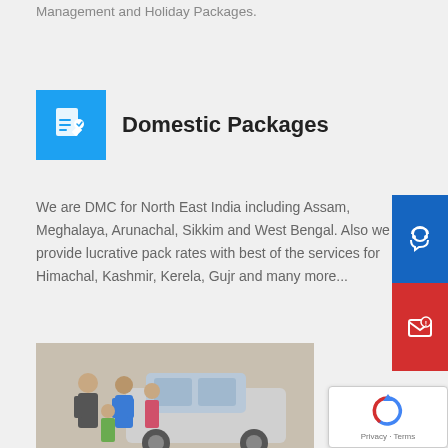We offer best price guarantee and Value for Money for Hotel Revenue Management and Holiday Packages.
Domestic Packages
We are DMC for North East India including Assam, Meghalaya, Arunachal, Sikkim and West Bengal. Also we provide lucrative packages rates with best of the services for Himachal, Kashmir, Kerela, Gujarat and many more...
[Figure (photo): Photo of people with a car, including a salesman handing keys to a family]
[Figure (other): Blue sidebar button with headset/support icon]
[Figure (other): Red sidebar button with email/message icon]
[Figure (other): reCAPTCHA widget with Privacy and Terms links]